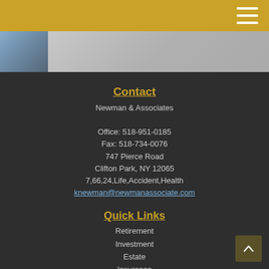[Figure (photo): Partial photo showing clothing fabric on left and light gray surface on right]
Contact
Newman & Associates
Office: 518-951-0185
Fax: 518-734-0076
747 Pierce Road
Clifton Park, NY 12065
7,66,24,Life,Accident,Health
knewman@newmanassociate.com
Quick Links
Retirement
Investment
Estate
Insurance